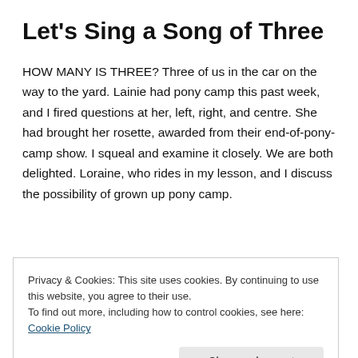Let's Sing a Song of Three
HOW MANY IS THREE? Three of us in the car on the way to the yard. Lainie had pony camp this past week, and I fired questions at her, left, right, and centre. She had brought her rosette, awarded from their end-of-pony-camp show. I squeal and examine it closely. We are both delighted. Loraine, who rides in my lesson, and I discuss the possibility of grown up pony camp.
I ask Lainie all about the ponies. Rightie, to pick the…
Privacy & Cookies: This site uses cookies. By continuing to use this website, you agree to their use.
To find out more, including how to control cookies, see here: Cookie Policy